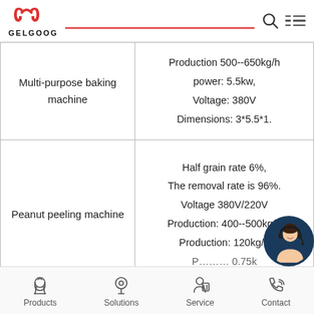GELGOOG
| Product | Specifications |
| --- | --- |
| Multi-purpose baking machine | Production 500--650kg/h
power: 5.5kw,
Voltage: 380V
Dimensions: 3*5.5*1. |
| Peanut peeling machine | Half grain rate 6%,
The removal rate is 96%.
Voltage 380V/220V
Production: 400--500kg/h
Production: 120kg/h
Power: 0.75kw |
Products  Solutions  Service  Contact